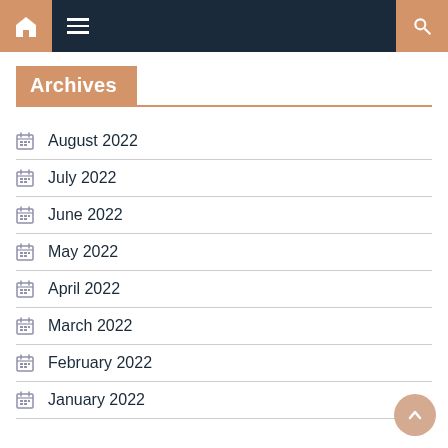Navigation bar with home, menu, and search icons
Archives
August 2022
July 2022
June 2022
May 2022
April 2022
March 2022
February 2022
January 2022